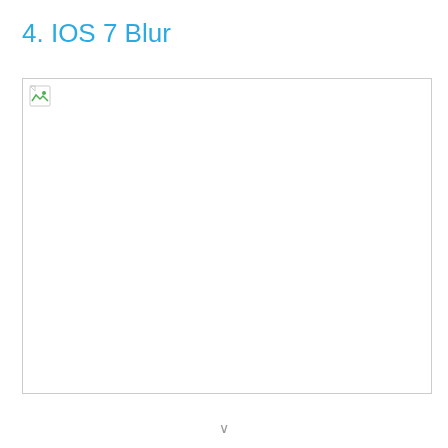4. IOS 7 Blur
[Figure (screenshot): A broken/missing image placeholder box with a small broken image icon in the top-left corner, representing an iOS 7 Blur screenshot that failed to load.]